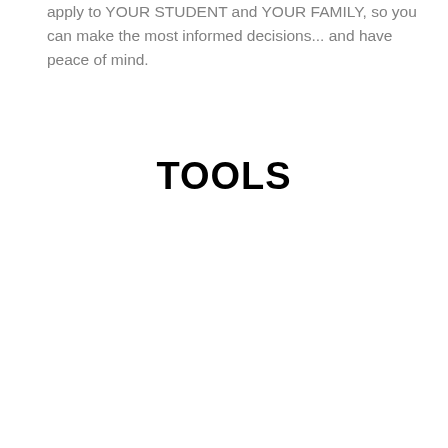apply to YOUR STUDENT and YOUR FAMILY, so you can make the most informed decisions... and have peace of mind.
TOOLS